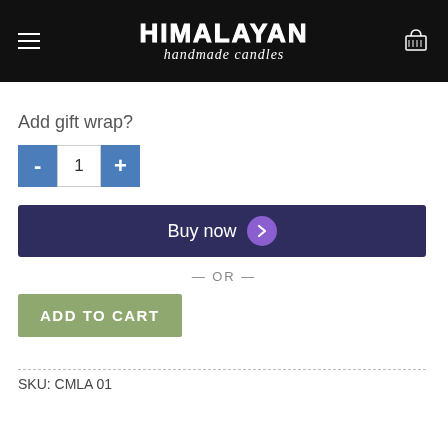HIMALAYAN handmade candles
Add gift wrap?
[Figure (other): Quantity selector with minus button, number 1, and plus button]
[Figure (other): Buy now button with purple arrow circle icon]
— OR —
[Figure (other): ADD TO CART green button]
SKU: CMLA 01